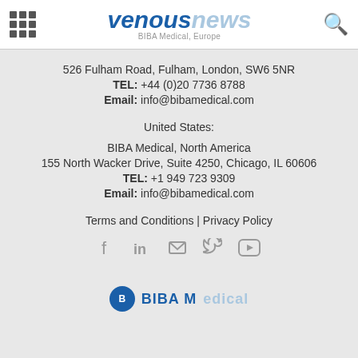venousnews — BIBA Medical, Europe
526 Fulham Road, Fulham, London, SW6 5NR
TEL: +44 (0)20 7736 8788
Email: info@bibamedical.com
United States:
BIBA Medical, North America
155 North Wacker Drive, Suite 4250, Chicago, IL 60606
TEL: +1 949 723 9309
Email: info@bibamedical.com
Terms and Conditions | Privacy Policy
[Figure (other): Social media icons: Facebook, LinkedIn, Email, Twitter, YouTube]
[Figure (logo): BIBA Medical logo (partially visible at bottom)]